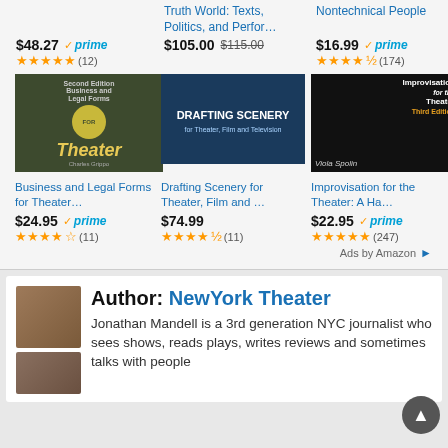Truth World: Texts, Politics, and Perfor…
Nontechnical People
$48.27 ✓prime ★★★★★ (12)
$105.00 $115.00
$16.99 ✓prime ★★★★½ (174)
[Figure (photo): Book cover: Business and Legal Forms for Theater by Charles Grippo, dark green cover with gold Theater text]
[Figure (photo): Book cover: Drafting Scenery for Theater, Film and Television, dark blue cover]
[Figure (photo): Book cover: Improvisation for the Theater Third Edition by Viola Spolin, dark cover with person on ladder]
Business and Legal Forms for Theater…
Drafting Scenery for Theater, Film and …
Improvisation for the Theater: A Ha…
$24.95 ✓prime ★★★★½ (11)
$74.99 ★★★★½ (11)
$22.95 ✓prime ★★★★★ (247)
Ads by Amazon
Author: NewYork Theater
[Figure (photo): Author photo of Jonathan Mandell, top photo]
[Figure (photo): Author photo of Jonathan Mandell, second photo]
Jonathan Mandell is a 3rd generation NYC journalist who sees shows, reads plays, writes reviews and sometimes talks with people